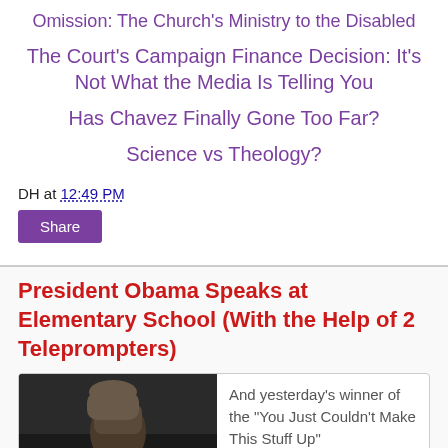Omission: The Church's Ministry to the Disabled
The Court's Campaign Finance Decision: It's Not What the Media Is Telling You
Has Chavez Finally Gone Too Far?
Science vs Theology?
DH at 12:49 PM
Share
President Obama Speaks at Elementary School (With the Help of 2 Teleprompters)
[Figure (photo): A person shielding their face with their hand near a vehicle]
And yesterday's winner of the "You Just Couldn't Make This Stuff Up"